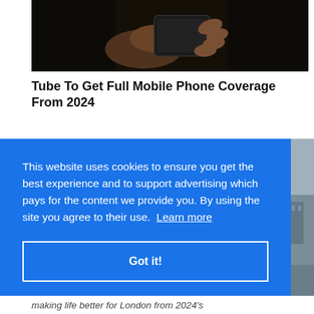[Figure (photo): Close-up of hands holding a smartphone against a dark background]
Tube To Get Full Mobile Phone Coverage From 2024
This website uses cookies to ensure you get the best experience and to support advertising which pays for the content we provide you. By using the site you agree to their use. Learn more
Got it!
[Figure (photo): Partial outdoor scene visible on the right side, partially obscured by cookie banner]
making life better for London from 2024's